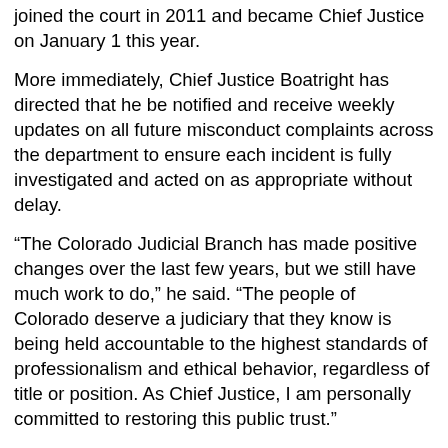joined the court in 2011 and became Chief Justice on January 1 this year.
More immediately, Chief Justice Boatright has directed that he be notified and receive weekly updates on all future misconduct complaints across the department to ensure each incident is fully investigated and acted on as appropriate without delay.
“The Colorado Judicial Branch has made positive changes over the last few years, but we still have much work to do,” he said. “The people of Colorado deserve a judiciary that they know is being held accountable to the highest standards of professionalism and ethical behavior, regardless of title or position. As Chief Justice, I am personally committed to restoring this public trust.”
Earlier this month, allegations emerged that former chief of staff Mindy Masias was awarded a training services contract in order to prevent her from filing a lawsuit revealing